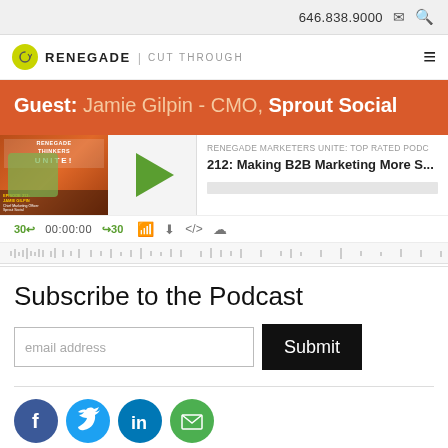646.838.9000
[Figure (logo): Renegade | Cut Through logo with yellow-green circle icon]
Guest: Jamie Gilpin - CMO, Sprout Social
[Figure (screenshot): Podcast player for episode 212: Making B2B Marketing More S... from Renegade Marketers Unite: Top Rated Podcast. Shows play button, time 00:00:00, skip 30s controls, and waveform.]
Subscribe to the Podcast
[Figure (other): Email subscription form with email address input and Submit button]
[Figure (other): Social media icons: Facebook, Twitter, LinkedIn, Email]